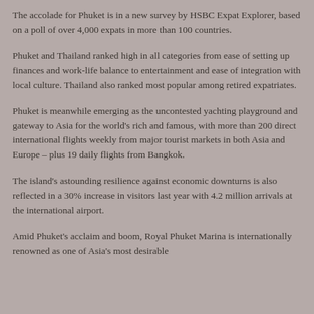The accolade for Phuket is in a new survey by HSBC Expat Explorer, based on a poll of over 4,000 expats in more than 100 countries.
Phuket and Thailand ranked high in all categories from ease of setting up finances and work-life balance to entertainment and ease of integration with local culture. Thailand also ranked most popular among retired expatriates.
Phuket is meanwhile emerging as the uncontested yachting playground and gateway to Asia for the world's rich and famous, with more than 200 direct international flights weekly from major tourist markets in both Asia and Europe – plus 19 daily flights from Bangkok.
The island's astounding resilience against economic downturns is also reflected in a 30% increase in visitors last year with 4.2 million arrivals at the international airport.
Amid Phuket's acclaim and boom, Royal Phuket Marina is internationally renowned as one of Asia's most desirable